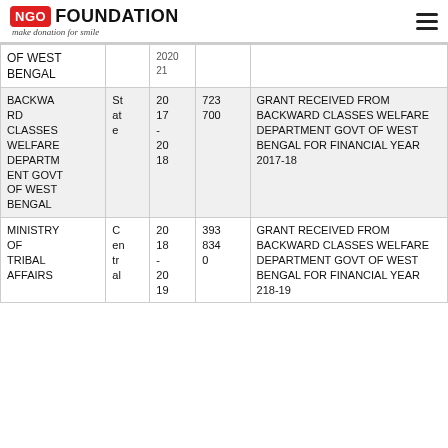NGO FOUNDATION - make donation for smile
| Name | Type | Year | Amount | Description |
| --- | --- | --- | --- | --- |
| OF WEST BENGAL |  | 2020-21 |  |  |
| BACKWARD CLASSES WELFARE DEPARTMENT GOVT OF WEST BENGAL | State | 2017-2018 | 723 700 | GRANT RECEIVED FROM BACKWARD CLASSES WELFARE DEPARTMENT GOVT OF WEST BENGAL FOR FINANCIAL YEAR 2017-18 |
| MINISTRY OF TRIBAL AFFAIRS | Central | 2018-2019 | 393 834 0 | GRANT RECEIVED FROM BACKWARD CLASSES WELFARE DEPARTMENT GOVT OF WEST BENGAL FOR FINANCIAL YEAR 218-19 |